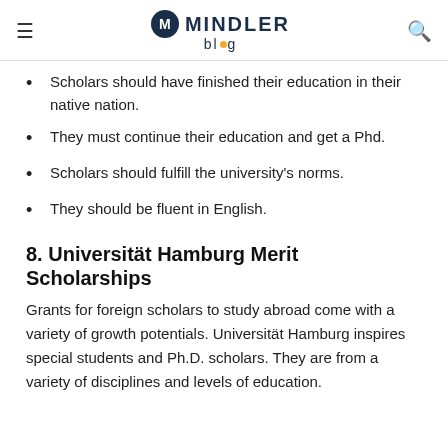MINDLER blog
Scholars should have finished their education in their native nation.
They must continue their education and get a Phd.
Scholars should fulfill the university's norms.
They should be fluent in English.
8. Universität Hamburg Merit Scholarships
Grants for foreign scholars to study abroad come with a variety of growth potentials. Universität Hamburg inspires special students and Ph.D. scholars. They are from a variety of disciplines and levels of education.